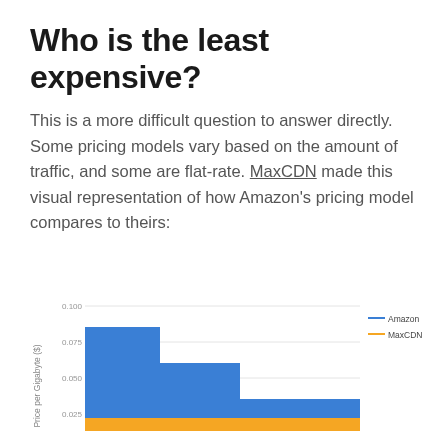Who is the least expensive?
This is a more difficult question to answer directly. Some pricing models vary based on the amount of traffic, and some are flat-rate. MaxCDN made this visual representation of how Amazon's pricing model compares to theirs:
[Figure (continuous-plot): Step chart comparing Amazon (blue) vs MaxCDN (orange) price per gigabyte ($) showing Amazon's price decreasing in steps from ~0.085 to ~0.035, while MaxCDN remains constant near 0.025. Y-axis shows values 0.025, 0.050, 0.075, 0.100. Legend shows Amazon (blue line) and MaxCDN (orange line).]